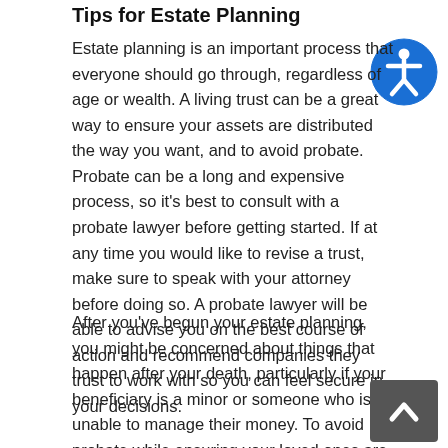Tips for Estate Planning
Estate planning is an important process that everyone should go through, regardless of age or wealth. A living trust can be a great way to ensure your assets are distributed the way you want, and to avoid probate. Probate can be a long and expensive process, so it’s best to consult with a probate lawyer before getting started. If at any time you would like to revise a trust, make sure to speak with your attorney before doing so. A probate lawyer will be able to advise you on the best course of action and recommend companies they trust to work with so you can feel secure in your decisions.
[Figure (illustration): Blue circle accessibility icon with white person/human figure in the center]
After you’ve begun your estate planning, you might be concerned about things that happen after your death, particularly if your beneficiary is a minor or someone who is unable to manage their money. To avoid probate while ensuring your loved ones are able to access money as needed, consider setting up a trust for any minors or
[Figure (illustration): Dark grey scroll-to-top button with upward arrow chevron icon]